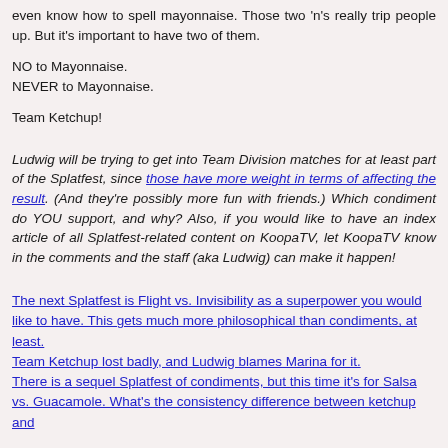even know how to spell mayonnaise. Those two 'n's really trip people up. But it's important to have two of them.
NO to Mayonnaise.
NEVER to Mayonnaise.
Team Ketchup!
Ludwig will be trying to get into Team Division matches for at least part of the Splatfest, since those have more weight in terms of affecting the result. (And they're possibly more fun with friends.) Which condiment do YOU support, and why? Also, if you would like to have an index article of all Splatfest-related content on KoopaTV, let KoopaTV know in the comments and the staff (aka Ludwig) can make it happen!
The next Splatfest is Flight vs. Invisibility as a superpower you would like to have. This gets much more philosophical than condiments, at least.
Team Ketchup lost badly, and Ludwig blames Marina for it.
There is a sequel Splatfest of condiments, but this time it's for Salsa vs. Guacamole. What's the consistency difference between ketchup and